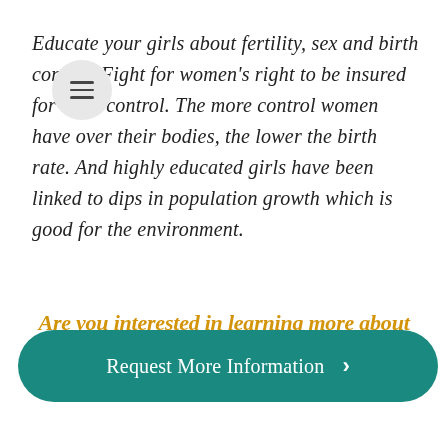Educate your girls about fertility, sex and birth control. Fight for women's right to be insured for birth control. The more control women have over their bodies, the lower the birth rate. And highly educated girls have been linked to dips in population growth which is good for the environment.
Are you interested in learning more about Bard's MBA in Sustainability? Request more information here!
Request More Information >